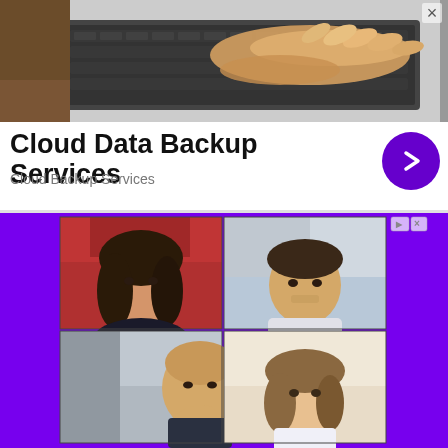[Figure (photo): Hands typing on a laptop keyboard, viewed from above, dark background with silver laptop]
Cloud Data Backup Services
Cloud Backup Services
[Figure (photo): Video call interface showing four participants in a 2x2 grid, with purple sidebar borders and an ad indicator in the top right corner]